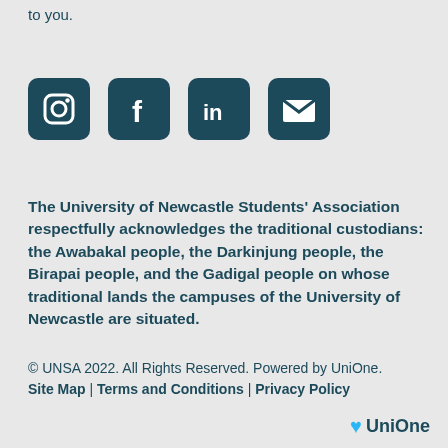to you.
[Figure (illustration): Four social media icons in dark teal rounded squares: Instagram camera icon, Facebook F icon, LinkedIn 'in' icon, and an email envelope icon.]
The University of Newcastle Students' Association respectfully acknowledges the traditional custodians: the Awabakal people, the Darkinjung people, the Birapai people, and the Gadigal people on whose traditional lands the campuses of the University of Newcastle are situated.
© UNSA 2022. All Rights Reserved. Powered by UniOne. Site Map | Terms and Conditions | Privacy Policy
[Figure (logo): UniOne logo with a blue heart icon and 'UniOne' text in dark teal bold font.]